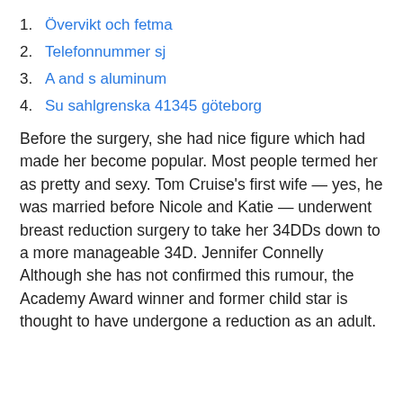1. Övervikt och fetma
2. Telefonnummer sj
3. A and s aluminum
4. Su sahlgrenska 41345 göteborg
Before the surgery, she had nice figure which had made her become popular. Most people termed her as pretty and sexy. Tom Cruise's first wife — yes, he was married before Nicole and Katie — underwent breast reduction surgery to take her 34DDs down to a more manageable 34D. Jennifer Connelly Although she has not confirmed this rumour, the Academy Award winner and former child star is thought to have undergone a reduction as an adult.